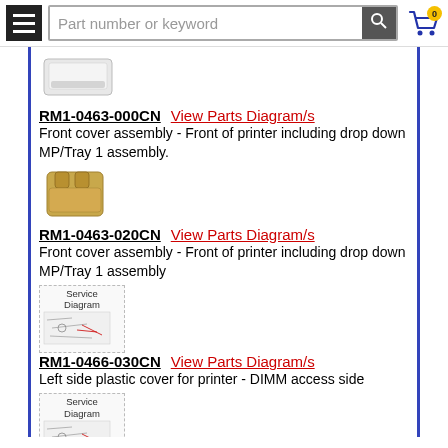Part number or keyword
[Figure (photo): White printer front cover assembly product photo]
RM1-0463-000CN   View Parts Diagram/s
Front cover assembly - Front of printer including drop down MP/Tray 1 assembly.
[Figure (photo): Yellow/tan front cover assembly product photo]
RM1-0463-020CN   View Parts Diagram/s
Front cover assembly - Front of printer including drop down MP/Tray 1 assembly
[Figure (engineering-diagram): Service Diagram thumbnail for left side plastic cover]
RM1-0466-030CN   View Parts Diagram/s
Left side plastic cover for printer - DIMM access side
[Figure (engineering-diagram): Service Diagram thumbnail for RM1-0467-000CN]
RM1-0467-000CN   View Parts Diagram/s